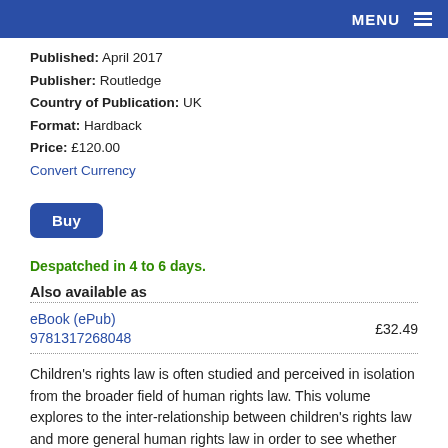MENU
Published: April 2017
Publisher: Routledge
Country of Publication: UK
Format: Hardback
Price: £120.00
Convert Currency
Buy
Despatched in 4 to 6 days.
Also available as
| Format | Price |
| --- | --- |
| eBook (ePub)
9781317268048 | £32.49 |
Children's rights law is often studied and perceived in isolation from the broader field of human rights law. This volume explores to the inter-relationship between children's rights law and more general human rights law in order to see whether elements from each could